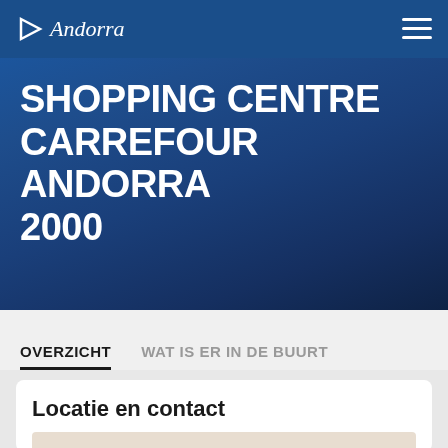Andorra
SHOPPING CENTRE CARREFOUR ANDORRA 2000
OVERZICHT
WAT IS ER IN DE BUURT
Locatie en contact
[Figure (map): Map placeholder showing location of Shopping Centre Carrefour Andorra 2000]